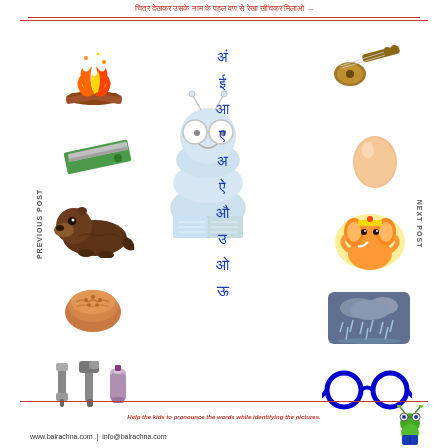चित्र देखकर उसके नाम के पहल वण से रेखा खींचकर मिलाओ –
[Figure (illustration): Educational matching worksheet with Hindi Devanagari vowels in center column, pictures on left (fire/campfire, razor, otter, bread/cookie, tools) and right (sitar/instrument, egg, Ganesha deity, rainy scene, eyeglasses). Center has a cartoon caterpillar/bookworm mascot reading a book. Hindi vowels listed: अं, ई, आ, ए, अ, ऐ, औ, उ, ओ, ऊ]
Help the kids to pronounce the words while identifying the pictures.
www.balrachna.com  |  info@balrachna.com